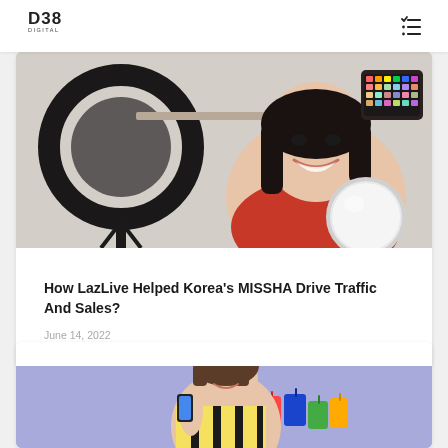D38 DIGITAL
[Figure (photo): Young woman smiling, holding a makeup palette and a round mirror, sitting in front of a ring light in a studio setting]
How LazLive Helped Korea's MISSHA Drive Traffic And Sales?
June 14, 2022
[Figure (photo): Young woman in a yellow striped dress holding a smartphone and colorful shopping bags against a purple background]